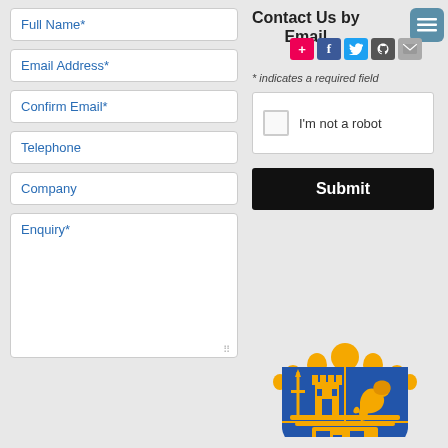Contact Us by Email
[Figure (other): Social sharing icons: Google+, Facebook, Twitter, GitHub, Email]
* indicates a required field
Full Name*
Email Address*
Confirm Email*
Telephone
Company
Enquiry*
I'm not a robot
Submit
[Figure (logo): Municipal coat of arms with blue and gold shield featuring a castle, sword, and lion, topped with a golden crown]